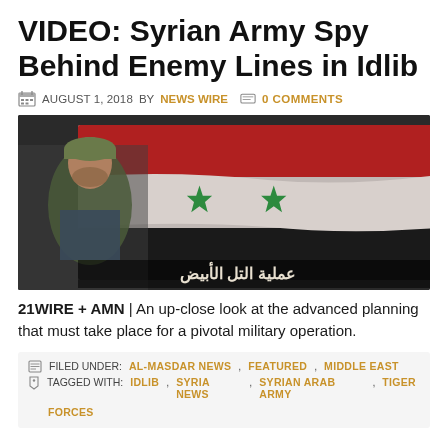VIDEO: Syrian Army Spy Behind Enemy Lines in Idlib
AUGUST 1, 2018 BY NEWS WIRE  0 COMMENTS
[Figure (photo): Video thumbnail showing a Syrian soldier in camouflage uniform against a large Syrian flag with red, white, black stripes and two green stars, with Arabic text at the bottom]
21WIRE + AMN | An up-close look at the advanced planning that must take place for a pivotal military operation.
FILED UNDER: AL-MASDAR NEWS, FEATURED, MIDDLE EAST
TAGGED WITH: IDLIB, SYRIA NEWS, SYRIAN ARAB ARMY, TIGER FORCES